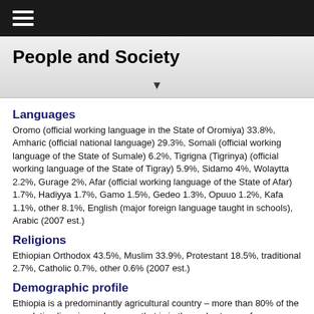≡ (navigation menu)
People and Society
Languages
Oromo (official working language in the State of Oromiya) 33.8%, Amharic (official national language) 29.3%, Somali (official working language of the State of Sumale) 6.2%, Tigrigna (Tigrinya) (official working language of the State of Tigray) 5.9%, Sidamo 4%, Wolaytta 2.2%, Gurage 2%, Afar (official working language of the State of Afar) 1.7%, Hadiyya 1.7%, Gamo 1.5%, Gedeo 1.3%, Opuuo 1.2%, Kafa 1.1%, other 8.1%, English (major foreign language taught in schools), Arabic (2007 est.)
Religions
Ethiopian Orthodox 43.5%, Muslim 33.9%, Protestant 18.5%, traditional 2.7%, Catholic 0.7%, other 0.6% (2007 est.)
Demographic profile
Ethiopia is a predominantly agricultural country – more than 80% of the population lives in rural areas – that is in the early stages of demographic transition. Infant, child, and maternal mortality have fallen sharply over the past decade, but the total fertility rate has declined more slowly and the population continues to grow. The rising age of marriage and the increasing proportion of women remaining single have contributed to fertility reduction.